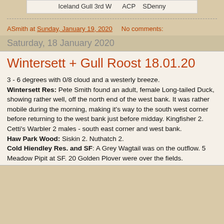Iceland Gull 3rd W    ACP    SDenny
ASmith at Sunday, January 19, 2020    No comments:
Saturday, 18 January 2020
Wintersett + Gull Roost 18.01.20
3 - 6 degrees with 0/8 cloud and a westerly breeze. Wintersett Res: Pete Smith found an adult, female Long-tailed Duck, showing rather well, off the north end of the west bank.  It was rather mobile during the morning,  making it's way to the south west corner before returning  to the west bank just before midday.    Kingfisher 2.  Cetti's Warbler 2 males - south east corner and west bank. Haw Park Wood: Siskin 2.  Nuthatch 2. Cold Hiendley Res. and SF:  A Grey Wagtail was on the outflow.   5 Meadow Pipit at SF.  20 Golden Plover were over the fields.